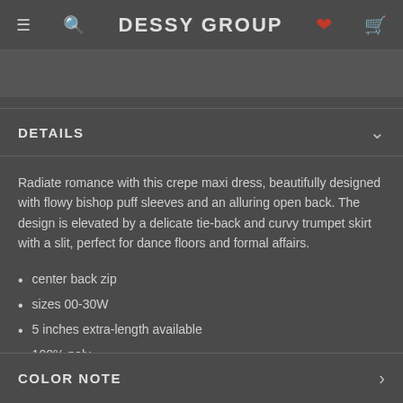DESSY GROUP
DETAILS
Radiate romance with this crepe maxi dress, beautifully designed with flowy bishop puff sleeves and an alluring open back. The design is elevated by a delicate tie-back and curvy trumpet skirt with a slit, perfect for dance floors and formal affairs.
center back zip
sizes 00-30W
5 inches extra-length available
100% poly
dry clean
imported
COLOR NOTE